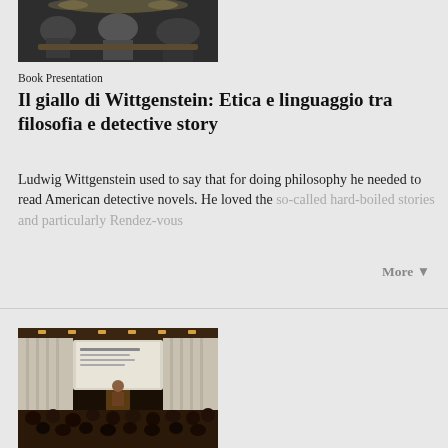[Figure (photo): Panel discussion with several people seated in chairs in a dark room]
Book Presentation
Il giallo di Wittgenstein: Etica e linguaggio tra filosofia e detective story
Ludwig Wittgenstein used to say that for doing philosophy he needed to read American detective novels. He loved the so-called hard-boiled stories and particularly Rendez-vous
More ▼
[Figure (photo): Lecture hall with audience seated, presenter at podium with projection screen in background]